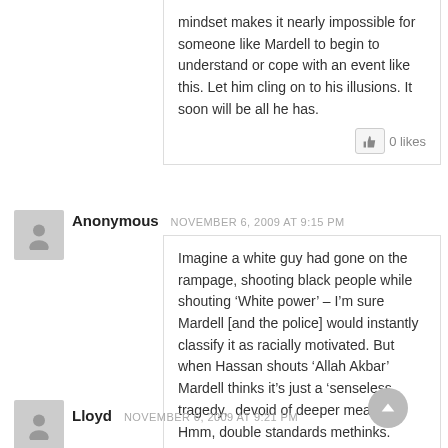mindset makes it nearly impossible for someone like Mardell to begin to understand or cope with an event like this. Let him cling on to his illusions. It soon will be all he has.
0 likes
Anonymous NOVEMBER 6, 2009 AT 9:15 PM
Imagine a white guy had gone on the rampage, shooting black people while shouting ‘White power’ – I’m sure Mardell [and the police] would instantly classify it as racially motivated. But when Hassan shouts ‘Allah Akbar’ Mardell thinks it’s just a ‘senseless tragedy, devoid of deeper meaning’. Hmm, double standards methinks.
0 likes
Lloyd NOVEMBER 6, 2009 AT 9:21 PM